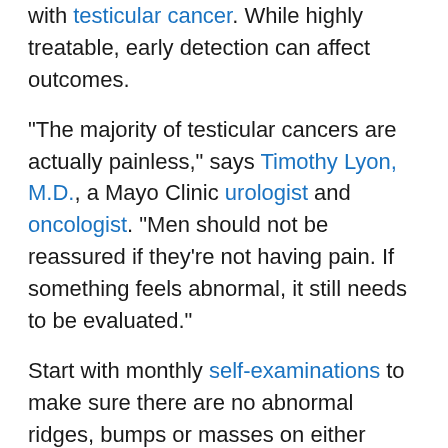with testicular cancer. While highly treatable, early detection can affect outcomes.
"The majority of testicular cancers are actually painless," says Timothy Lyon, M.D., a Mayo Clinic urologist and oncologist. "Men should not be reassured if they're not having pain. If something feels abnormal, it still needs to be evaluated."
Start with monthly self-examinations to make sure there are no abnormal ridges, bumps or masses on either testicle. Risk factors include if a testicle did not fully descend at birth, or if there is family history or a previous personal history of testicular cancer.
"We are able to cure almost all men affected with testicular cancer, no matter what stage of disease they present with," Dr. Lyon says.
Treatment starts by removing the affected testicle, and may require chemotherapy, radiation or additional